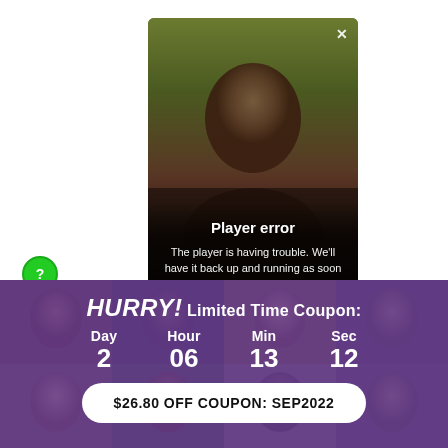[Figure (screenshot): Video player error modal overlaid on a dark image of a person. Shows 'Player error' title and error message text. Has a white X close button in top-right corner.]
Player error
The player is having trouble. We'll have it back up and running as soon as possible.
[Figure (infographic): Purple-overlay banner with countdown timer and coupon code. Background shows a photo grid of faces. Text: HURRY! Limited Time Coupon: Day 2, Hour 06, Min 13, Sec 12. Button: $26.80 OFF COUPON: SEP2022]
HURRY! Limited Time Coupon:
Day 2  Hour 06  Min 13  Sec 12
$26.80 OFF COUPON: SEP2022